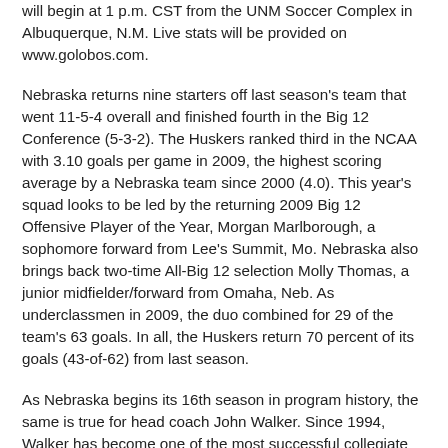will begin at 1 p.m. CST from the UNM Soccer Complex in Albuquerque, N.M. Live stats will be provided on www.golobos.com.
Nebraska returns nine starters off last season's team that went 11-5-4 overall and finished fourth in the Big 12 Conference (5-3-2). The Huskers ranked third in the NCAA with 3.10 goals per game in 2009, the highest scoring average by a Nebraska team since 2000 (4.0). This year's squad looks to be led by the returning 2009 Big 12 Offensive Player of the Year, Morgan Marlborough, a sophomore forward from Lee's Summit, Mo. Nebraska also brings back two-time All-Big 12 selection Molly Thomas, a junior midfielder/forward from Omaha, Neb. As underclassmen in 2009, the duo combined for 29 of the team's 63 goals. In all, the Huskers return 70 percent of its goals (43-of-62) from last season.
As Nebraska begins its 16th season in program history, the same is true for head coach John Walker. Since 1994, Walker has become one of the most successful collegiate coaches in the nation with a 236-91-21 career record. He